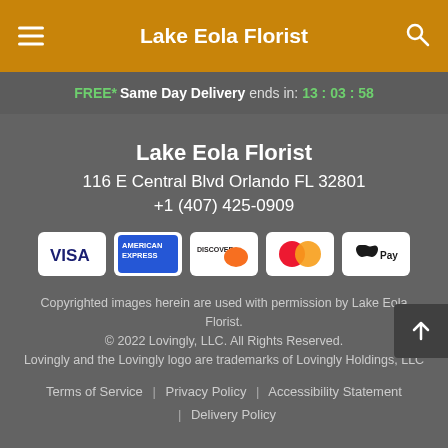Lake Eola Florist
FREE* Same Day Delivery ends in: 13:03:58
Lake Eola Florist
116 E Central Blvd Orlando FL 32801
+1 (407) 425-0909
[Figure (logo): Payment method icons: VISA, American Express, Discover, Mastercard, Apple Pay]
Copyrighted images herein are used with permission by Lake Eola Florist.
© 2022 Lovingly, LLC. All Rights Reserved.
Lovingly and the Lovingly logo are trademarks of Lovingly Holdings, LLC
Terms of Service | Privacy Policy | Accessibility Statement | Delivery Policy